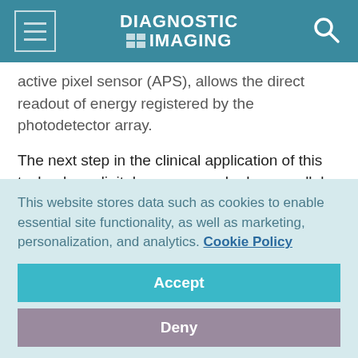DIAGNOSTIC IMAGING
active pixel sensor (APS), allows the direct readout of energy registered by the photodetector array.
The next step in the clinical application of this technology-digital mammography-has parallels to the company's already successful dental product. Much like the CDR system, the mammography sensor promises to offer image processing, such as zoom and contrast, and reduced radiation dosage,
This website stores data such as cookies to enable essential site functionality, as well as marketing, personalization, and analytics. Cookie Policy
Accept
Deny